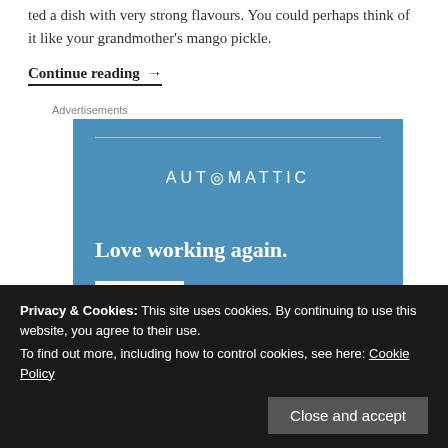ted a dish with very strong flavours. You could perhaps think of it like your grandmother's mango pickle.
Continue reading →
Advertisements
[Figure (infographic): Automattic advertisement banner with blue background. Shows 'AUTOMATTIC' logo text, 'Love working again.' tagline, and an 'Apply' button.]
Privacy & Cookies: This site uses cookies. By continuing to use this website, you agree to their use.
To find out more, including how to control cookies, see here: Cookie Policy
Close and accept